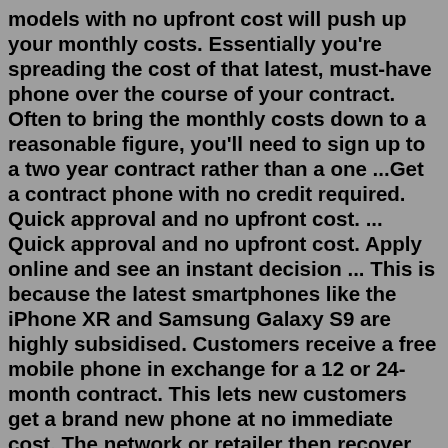models with no upfront cost will push up your monthly costs. Essentially you're spreading the cost of that latest, must-have phone over the course of your contract. Often to bring the monthly costs down to a reasonable figure, you'll need to sign up to a two year contract rather than a one ...Get a contract phone with no credit required. Quick approval and no upfront cost. ... Quick approval and no upfront cost. Apply online and see an instant decision ... This is because the latest smartphones like the iPhone XR and Samsung Galaxy S9 are highly subsidised. Customers receive a free mobile phone in exchange for a 12 or 24-month contract. This lets new customers get a brand new phone at no immediate cost. The network or retailer then recover the money through a monthly bill. upfront $45.38 /mth View Deal at Mint Mobile Get a new iPhone 1... Learn More Samsung Galaxy S22 (Instalments 128GB) 10GB data Unlimited mins Unlimited texts No contract Free upfront $55.38 /mth...Vodafone EVO is